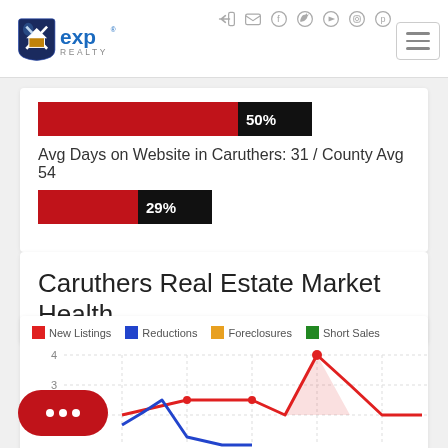[Figure (logo): eXp Realty logo with house icon on dark blue shield background]
[Figure (infographic): Horizontal bar showing 50% value in black label on red bar]
Avg Days on Website in Caruthers: 31 / County Avg 54
[Figure (infographic): Horizontal bar showing 29% value in black label on red bar]
Caruthers Real Estate Market Health
[Figure (line-chart): Line chart showing New Listings (red), Reductions (blue), Foreclosures (orange), Short Sales (green). Y-axis visible from 3 to 4. Red line peaks at 4, blue line visible at bottom.]